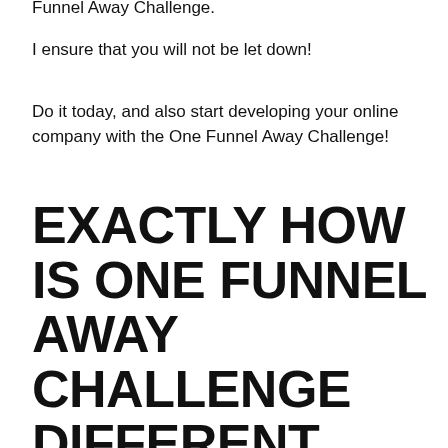Funnel Away Challenge.
I ensure that you will not be let down!
Do it today, and also start developing your online company with the One Funnel Away Challenge!
EXACTLY HOW IS ONE FUNNEL AWAY CHALLENGE DIFFERENT FROM ANY OTHER COURSES?